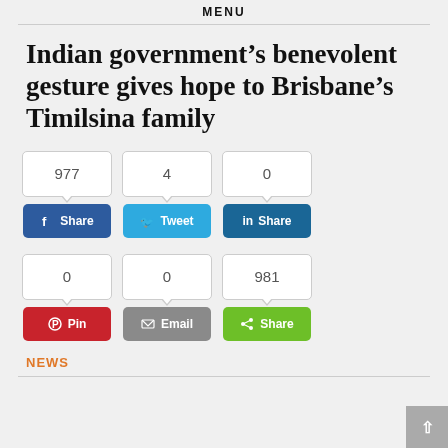MENU
Indian government’s benevolent gesture gives hope to Brisbane’s Timilsina family
[Figure (infographic): Social share buttons with counts: Facebook Share (977), Tweet (4), LinkedIn Share (0), Pinterest Pin (0), Email (0), ShareThis Share (981)]
NEWS